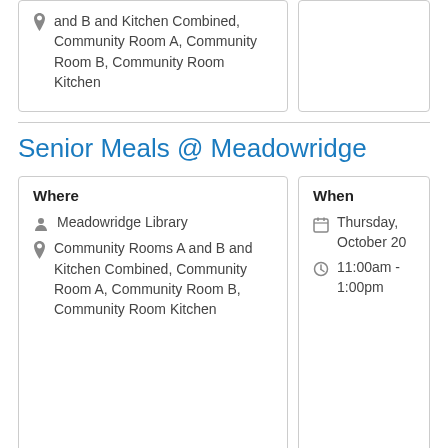and B and Kitchen Combined, Community Room A, Community Room B, Community Room Kitchen
Senior Meals @ Meadowridge
Where
Meadowridge Library
Community Rooms A and B and Kitchen Combined, Community Room A, Community Room B, Community Room Kitchen
When
Thursday, October 20
11:00am - 1:00pm